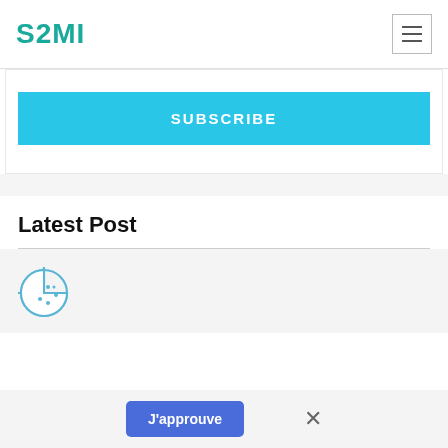S2MI
[Figure (screenshot): SUBSCRIBE button in cyan/sky blue color]
Latest Post
[Figure (illustration): Cookie icon (Pac-Man style cookie with dots)]
J'approuve